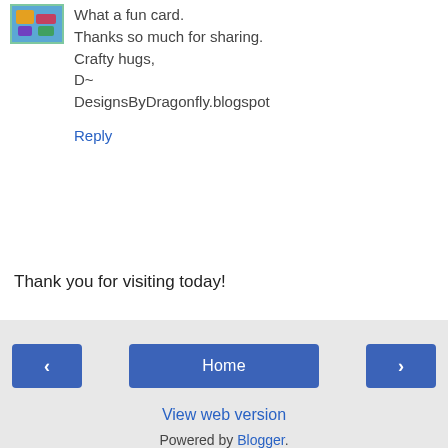[Figure (photo): Small avatar image in top-left corner, appears to be a colorful illustrated thumbnail]
What a fun card.
Thanks so much for sharing.
Crafty hugs,
D~
DesignsByDragonfly.blogspot
Reply
Thank you for visiting today!
‹
Home
›
View web version
Powered by Blogger.